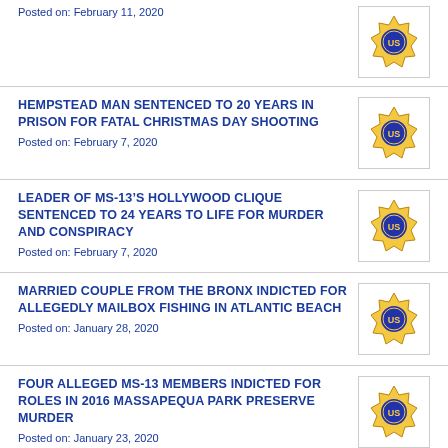Posted on: February 11, 2020
HEMPSTEAD MAN SENTENCED TO 20 YEARS IN PRISON FOR FATAL CHRISTMAS DAY SHOOTING
Posted on: February 7, 2020
LEADER OF MS-13’S HOLLYWOOD CLIQUE SENTENCED TO 24 YEARS TO LIFE FOR MURDER AND CONSPIRACY
Posted on: February 7, 2020
MARRIED COUPLE FROM THE BRONX INDICTED FOR ALLEGEDLY MAILBOX FISHING IN ATLANTIC BEACH
Posted on: January 28, 2020
FOUR ALLEGED MS-13 MEMBERS INDICTED FOR ROLES IN 2016 MASSAPEQUA PARK PRESERVE MURDER
Posted on: January 23, 2020